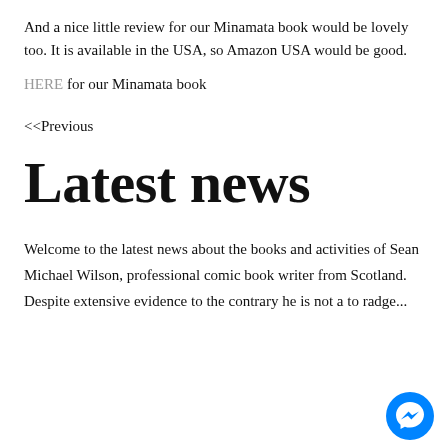And a nice little review for our Minamata book would be lovely too. It is available in the USA, so Amazon USA would be good.
HERE for our Minamata book
<<Previous
Latest news
Welcome to the latest news about the books and activities of Sean Michael Wilson, professional comic book writer from Scotland.
Despite extensive evidence to the contrary he is not a to radge...